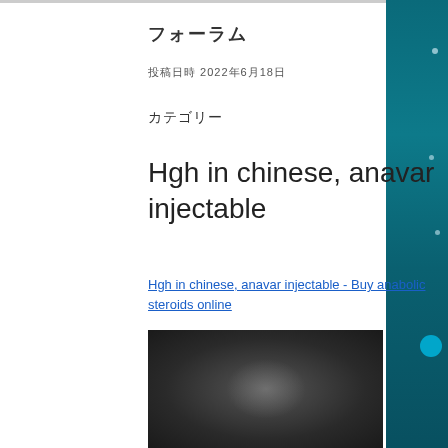フォーラム
投稿日時 2022年6月18日
カテゴリー
Hgh in chinese, anavar injectable
Hgh in chinese, anavar injectable - Buy anabolic steroids online
[Figure (photo): Blurred dark photograph, likely showing a person or product related to steroids topic]